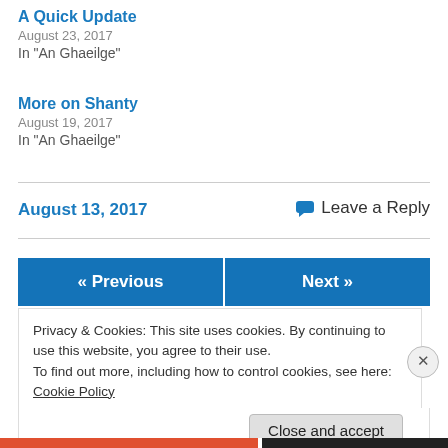A Quick Update
August 23, 2017
In "An Ghaeilge"
More on Shanty
August 19, 2017
In "An Ghaeilge"
August 13, 2017
Leave a Reply
« Previous
Next »
Privacy & Cookies: This site uses cookies. By continuing to use this website, you agree to their use.
To find out more, including how to control cookies, see here: Cookie Policy
Close and accept